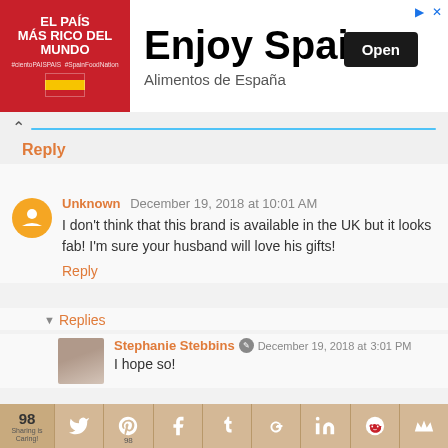[Figure (screenshot): Advertisement banner for 'Enjoy Spain / Alimentos de España' with red left panel showing 'El País Más Rico del Mundo' text and Spanish flag, and white right panel with large 'Enjoy Spain' heading, 'Open' button, and 'Alimentos de España' subtitle]
Reply
Unknown December 19, 2018 at 10:01 AM
I don't think that this brand is available in the UK but it looks fab! I'm sure your husband will love his gifts!
Reply
▾ Replies
Stephanie Stebbins December 19, 2018 at 3:01 PM
I hope so!
[Figure (screenshot): Social sharing bar with share count 98, and buttons for Twitter, Pinterest (98), Facebook, Tumblr, Google+, LinkedIn, Reddit, and another social network]